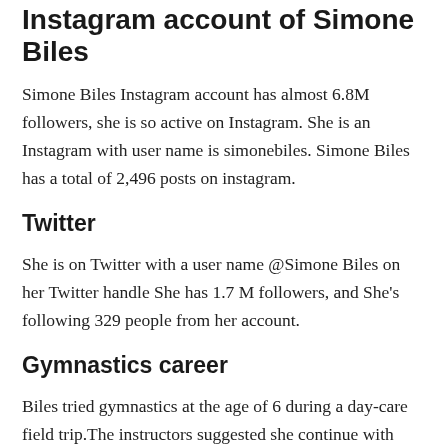Instagram account of Simone Biles
Simone Biles Instagram account has almost 6.8M followers, she is so active on Instagram. She is an Instagram with user name is simonebiles. Simone Biles has a total of 2,496 posts on instagram.
Twitter
She is on Twitter with a user name @Simone Biles on her Twitter handle She has 1.7 M followers, and She's following 329 people from her account.
Gymnastics career
Biles tried gymnastics at the age of 6 during a day-care field trip.The instructors suggested she continue with